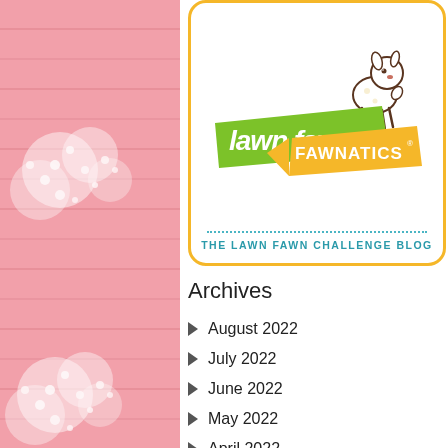[Figure (logo): Lawn Fawnatics logo with a cartoon fawn, green banner with 'lawn fawn' text, and orange ribbon banner with 'FAWNATICS' text, inside a rounded rectangle with yellow-orange border]
THE LAWN FAWN CHALLENGE BLOG
Archives
August 2022
July 2022
June 2022
May 2022
April 2022